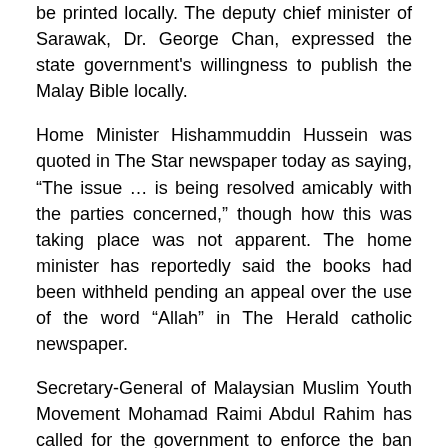be printed locally. The deputy chief minister of Sarawak, Dr. George Chan, expressed the state government's willingness to publish the Malay Bible locally.
Home Minister Hishammuddin Hussein was quoted in The Star newspaper today as saying, “The issue … is being resolved amicably with the parties concerned,” though how this was taking place was not apparent. The home minister has reportedly said the books had been withheld pending an appeal over the use of the word “Allah” in The Herald catholic newspaper.
Secretary-General of Malaysian Muslim Youth Movement Mohamad Raimi Abdul Rahim has called for the government to enforce the ban on use of the word “Allah” by non-Muslims nationwide, including in Sabah and Sarawak.